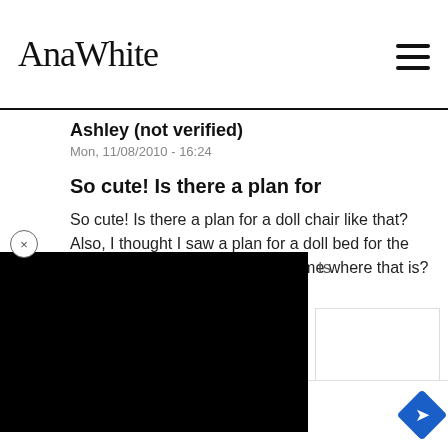AnaWhite
Ashley (not verified)
Mon, 11/08/2010 - 16:24
So cute! Is there a plan for
So cute! Is there a plan for a doll chair like that? Also, I thought I saw a plan for a doll bed for the American Girl dolls. Can you tell me where that is?
[Figure (screenshot): Black overlay covering an advertisement or video player panel]
tha
tha